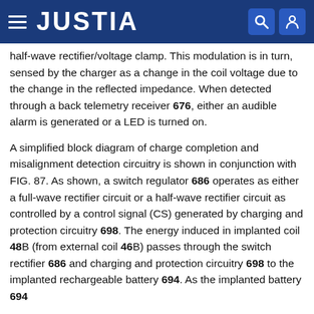JUSTIA
half-wave rectifier/voltage clamp. This modulation is in turn, sensed by the charger as a change in the coil voltage due to the change in the reflected impedance. When detected through a back telemetry receiver 676, either an audible alarm is generated or a LED is turned on.
A simplified block diagram of charge completion and misalignment detection circuitry is shown in conjunction with FIG. 87. As shown, a switch regulator 686 operates as either a full-wave rectifier circuit or a half-wave rectifier circuit as controlled by a control signal (CS) generated by charging and protection circuitry 698. The energy induced in implanted coil 48B (from external coil 46B) passes through the switch rectifier 686 and charging and protection circuitry 698 to the implanted rechargeable battery 694. As the implanted battery 694